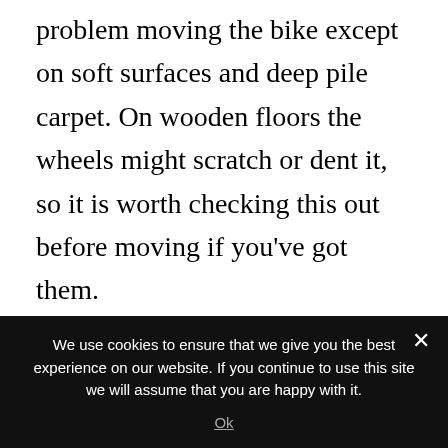problem moving the bike except on soft surfaces and deep pile carpet. On wooden floors the wheels might scratch or dent it, so it is worth checking this out before moving if you've got them.
The bike requires 22 by 52 inches of floor space when not in use. It is a good size bike but longer than the SPT-Mag which needs 46 inched by 24 inches, but that bike doesn't come with a
We use cookies to ensure that we give you the best experience on our website. If you continue to use this site we will assume that you are happy with it.
Ok